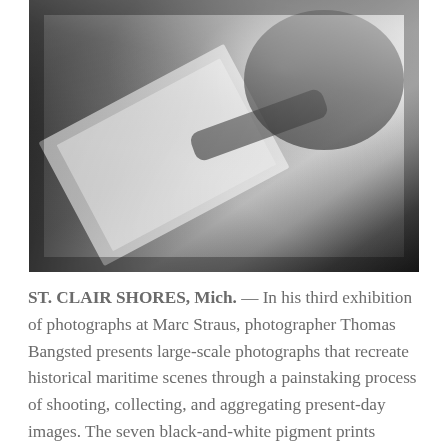[Figure (photo): A man wearing glasses and a dark long-sleeve shirt leans over a large open book or portfolio containing black-and-white photographs of maritime scenes, examining them closely. The book is resting on what appears to be a wooden surface.]
ST. CLAIR SHORES, Mich. — In his third exhibition of photographs at Marc Straus, photographer Thomas Bangsted presents large-scale photographs that recreate historical maritime scenes through a painstaking process of shooting, collecting, and aggregating present-day images. The seven black-and-white pigment prints include selections from two different bodies of work — [...]